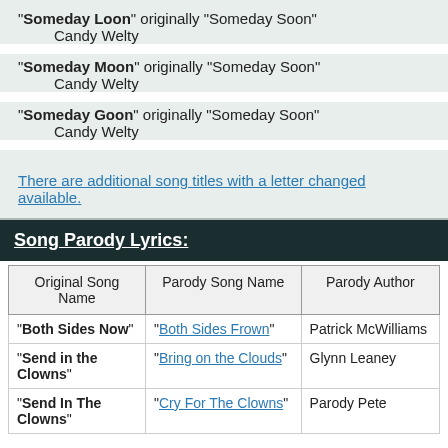"Someday Loon" originally "Someday Soon"
    Candy Welty
"Someday Moon" originally "Someday Soon"
    Candy Welty
"Someday Goon" originally "Someday Soon"
    Candy Welty
There are additional song titles with a letter changed available.
Song Parody Lyrics:
| Original Song Name | Parody Song Name | Parody Author |
| --- | --- | --- |
| "Both Sides Now" | "Both Sides Frown" | Patrick McWilliams |
| "Send in the Clowns" | "Bring on the Clouds" | Glynn Leaney |
| "Send In The Clowns" | "Cry For The Clowns" | Parody Pete |